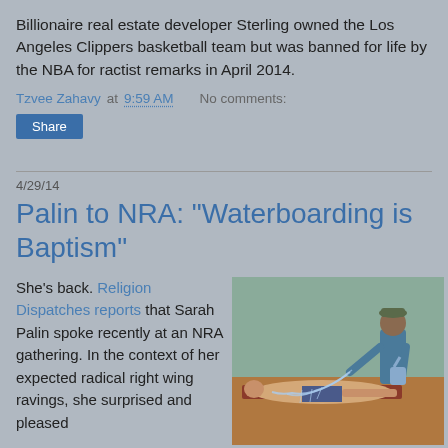Billionaire real estate developer Sterling owned the Los Angeles Clippers basketball team but was banned for life by the NBA for ractist remarks in April 2014.
Tzvee Zahavy at 9:59 AM   No comments:
Share
4/29/14
Palin to NRA: "Waterboarding is Baptism"
She's back. Religion Dispatches reports that Sarah Palin spoke recently at an NRA gathering. In the context of her expected radical right wing ravings, she surprised and pleased
[Figure (photo): An illustration or painting depicting a waterboarding scene: a person lying on a board while another person pours water over their face.]